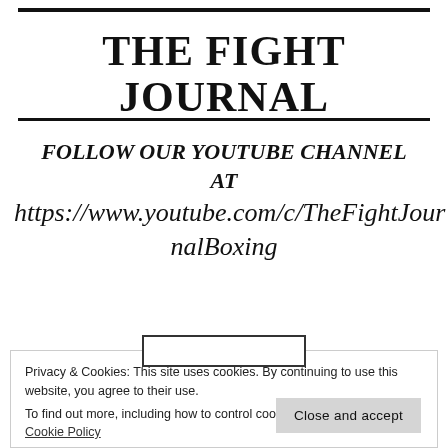THE FIGHT JOURNAL
FOLLOW OUR YOUTUBE CHANNEL AT https://www.youtube.com/c/TheFightJournalBoxing
Privacy & Cookies: This site uses cookies. By continuing to use this website, you agree to their use.
To find out more, including how to control cookies, see here: Cookie Policy
Close and accept